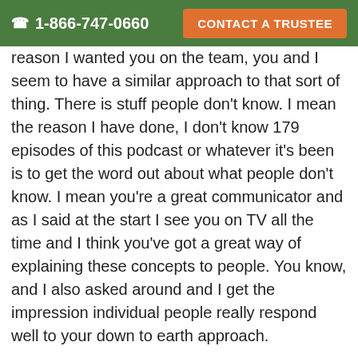☎ 1-866-747-0660   CONTACT A TRUSTEE
reason I wanted you on the team, you and I seem to have a similar approach to that sort of thing. There is stuff people don't know. I mean the reason I have done, I don't know 179 episodes of this podcast or whatever it's been is to get the word out about what people don't know. I mean you're a great communicator and as I said at the start I see you on TV all the time and I think you've got a great way of explaining these concepts to people. You know, and I also asked around and I get the impression individual people really respond well to your down to earth approach.
So walk me through – we know what you've done in the media and we'll talk about some of the places people can kind of read what you're up [Chat With Us] Bu___e certainly going to be meeting with a lot of people while